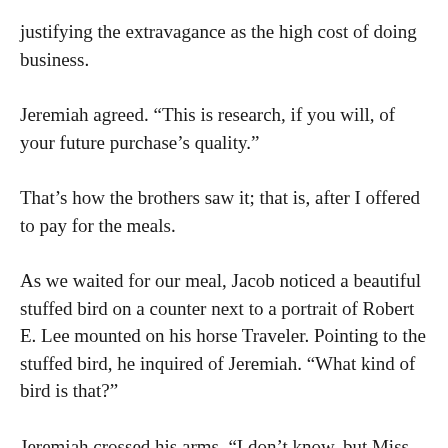justifying the extravagance as the high cost of doing business.
Jeremiah agreed. “This is research, if you will, of your future purchase’s quality.”
That’s how the brothers saw it; that is, after I offered to pay for the meals.
As we waited for our meal, Jacob noticed a beautiful stuffed bird on a counter next to a portrait of Robert E. Lee mounted on his horse Traveler. Pointing to the stuffed bird, he inquired of Jeremiah. “What kind of bird is that?”
Jeremiah crossed his arms. “I don’t know, but Miss Tilley